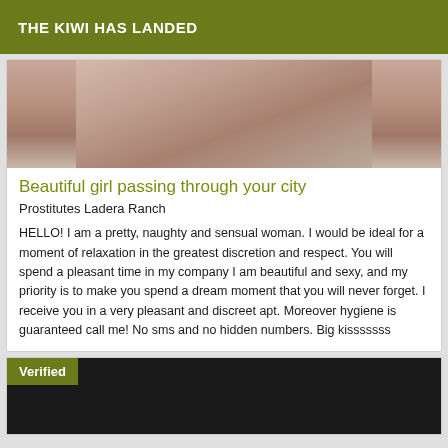THE KIWI HAS LANDED
[Figure (photo): Partial photo of a woman, cropped, shown from mid-section]
Beautiful girl passing through your city
Prostitutes Ladera Ranch
HELLO!  I am a pretty, naughty and sensual woman. I would be ideal for a moment of relaxation in the greatest discretion and respect. You will spend a pleasant time in my company I am beautiful and sexy, and my priority is to make you spend a dream moment that you will never forget. I receive you in a very pleasant and discreet apt. Moreover hygiene is guaranteed call me! No sms and no hidden numbers.  Big kisssssss
[Figure (photo): Dark/black image with a Verified badge overlay in olive green]